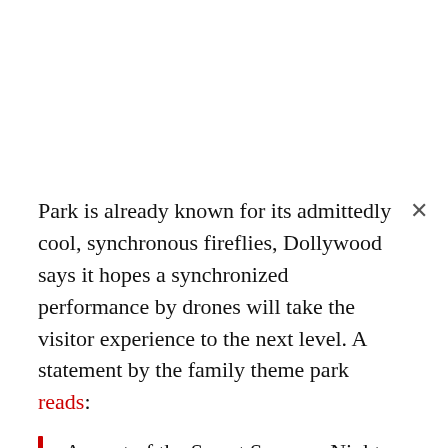Park is already known for its admittedly cool, synchronous fireflies, Dollywood says it hopes a synchronized performance by drones will take the visitor experience to the next level. A statement by the family theme park reads:
As part of the Sweet Summer Nights experience, a DJ and energetic dancers bring fun to the streets of Wildwood Grove during a 30-minute dance party that ensures every member of the family is on their feet. As the party nears its finale, the celebration takes to the sky as the drones launch into the air for an unforgettable end to the evening.
It's worth noting that following updated guidance from the Centers for Disease Control and Prevention (CDC), fully